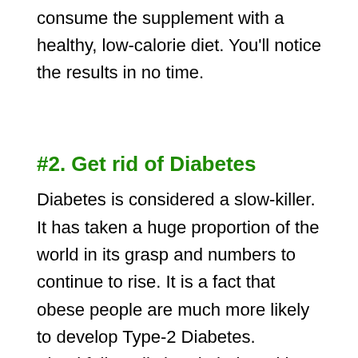consume the supplement with a healthy, low-calorie diet. You'll notice the results in no time.
#2. Get rid of Diabetes
Diabetes is considered a slow-killer. It has taken a huge proportion of the world in its grasp and numbers to continue to rise. It is a fact that obese people are much more likely to develop Type-2 Diabetes. Thankfully, Vrikshamla helps with diabetes as well.
Firstly, as discussed above, Vrikshamla is effective in gaining healthy weight and doing